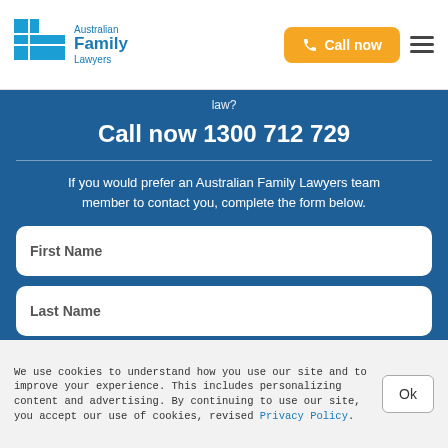[Figure (logo): Australian Family Lawyers logo with blue square grid icon and blue text]
Call now
law?
Call now 1300 712 729
If you would prefer an Australian Family Lawyers team member to contact you, complete the form below.
First Name
Last Name
We use cookies to understand how you use our site and to improve your experience. This includes personalizing content and advertising. By continuing to use our site, you accept our use of cookies, revised Privacy Policy.